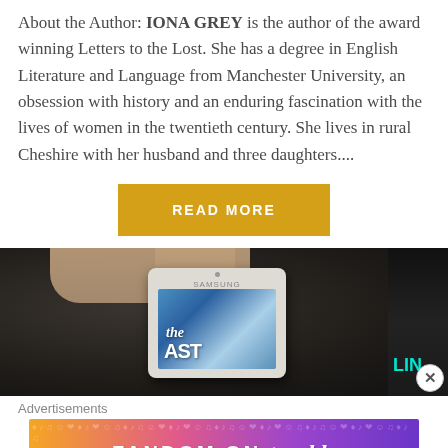About the Author: IONA GREY is the author of the award winning Letters to the Lost. She has a degree in English Literature and Language from Manchester University, an obsession with history and an enduring fascination with the lives of women in the twentieth century. She lives in rural Cheshire with her husband and three daughters....
[Figure (other): A yellow/gold 'READ MORE' button centered on the page]
[Figure (photo): A photo showing a Samsung tablet being held, displaying a book cover with text 'the LAST', with another book visible on the right edge. The background shows dark carpet/floor.]
Advertisements
[Figure (other): Advertisement banner for Fandom on Tumblr with colorful gradient background (orange to purple) and white bold text reading 'FANDOM ON tumblr']